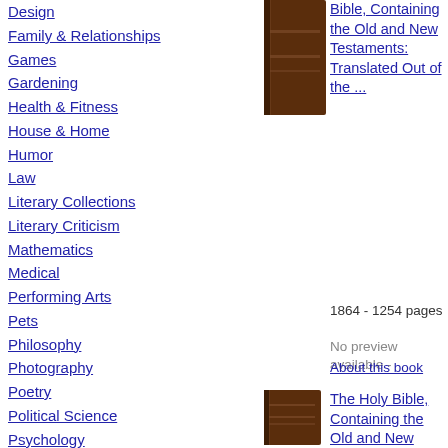Design
Family & Relationships
Games
Gardening
Health & Fitness
House & Home
Humor
Law
Literary Collections
Literary Criticism
Mathematics
Medical
Performing Arts
Pets
Philosophy
Photography
Poetry
Political Science
Psychology
Religion
Self-Help
Social Science
[Figure (photo): Brown book cover thumbnail for The Holy Bible entry 1]
Bible, Containing the Old and New Testaments: Translated Out of the ...
1864 - 1254 pages
No preview available -
About this book
[Figure (photo): Brown book cover thumbnail for The Holy Bible entry 2]
The Holy Bible, Containing the Old and New Testaments: Translated Out of the ...
1863 - 1340